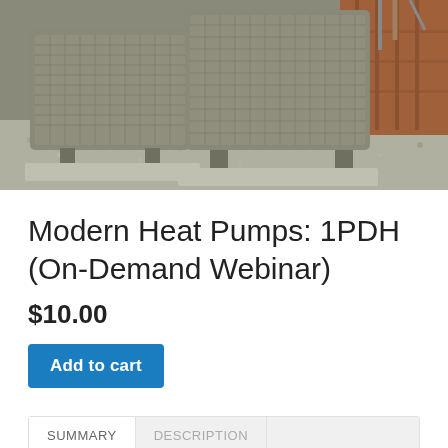[Figure (photo): Outdoor HVAC heat pump units sitting on concrete pads on a gravel/stone surface with a wooden structure in the background]
Modern Heat Pumps: 1PDH (On-Demand Webinar)
$10.00
Add to cart
SUMMARY   DESCRIPTION
HOW TO TAKE ON-DEMAND WEBINARS
In this course the engineer will be introduced to modern